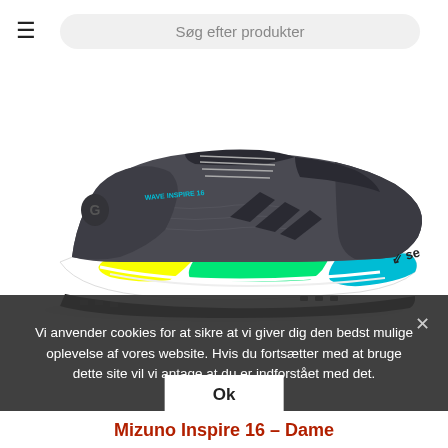≡  Søg efter produkter
[Figure (photo): Mizuno Wave Inspire 16 women's running shoe in dark grey with yellow, green, and teal accents on the sole. Side profile view on white background.]
Vi anvender cookies for at sikre at vi giver dig den bedst mulige oplevelse af vores website. Hvis du fortsætter med at bruge dette site vil vi antage at du er indforstået med det.
Mizuno Inspire 16 – Dame